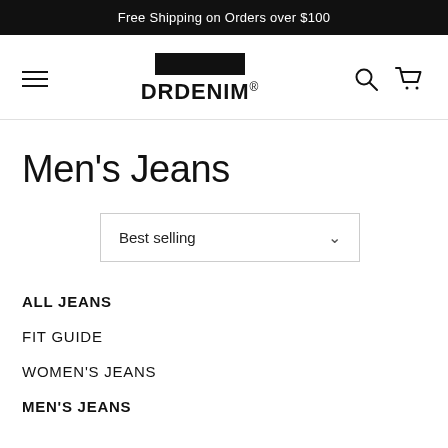Free Shipping on Orders over $100
[Figure (logo): Dr Denim logo with black rectangle above brand name DRDENIM with registered trademark symbol]
Men's Jeans
Best selling
ALL JEANS
FIT GUIDE
WOMEN'S JEANS
MEN'S JEANS